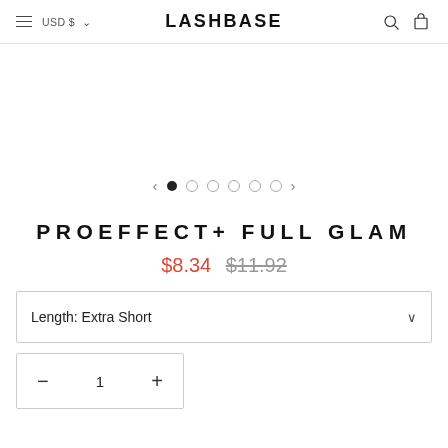LASHBASE — USD $ navigation header
[Figure (other): Image carousel area (blank/white product image area) with navigation dots and arrows]
PROEFFECT+ FULL GLAM
$8.34  $11.92 (strikethrough)
Length: Extra Short (dropdown)
- 1 + (quantity selector)